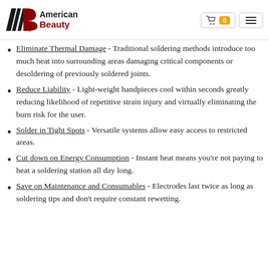American Beauty logo with cart (0) and menu icons
Eliminate Thermal Damage - Traditional soldering methods introduce too much heat into surrounding areas damaging critical components or desoldering of previously soldered joints.
Reduce Liability - Light-weight handpieces cool within seconds greatly reducing likelihood of repetitive strain injury and virtually eliminating the burn risk for the user.
Solder in Tight Spots - Versatile systems allow easy access to restricted areas.
Cut down on Energy Consumption - Instant heat means you're not paying to heat a soldering station all day long.
Save on Maintenance and Consumables - Electrodes last twice as long as soldering tips and don't require constant rewetting.